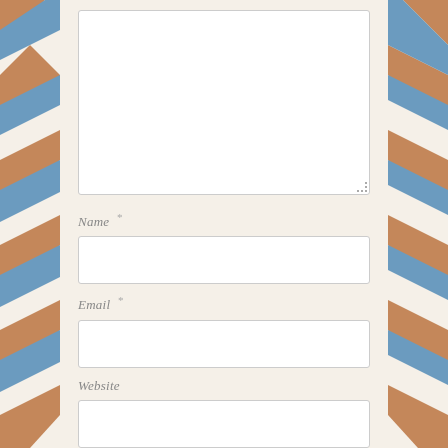[Figure (other): Decorative airmail-style diagonal stripe border on left side of page, alternating blue and brown/orange stripes on cream background]
[Figure (other): Decorative airmail-style diagonal stripe border on right side of page, alternating blue and brown/orange stripes on cream background]
Name *
Email *
Website